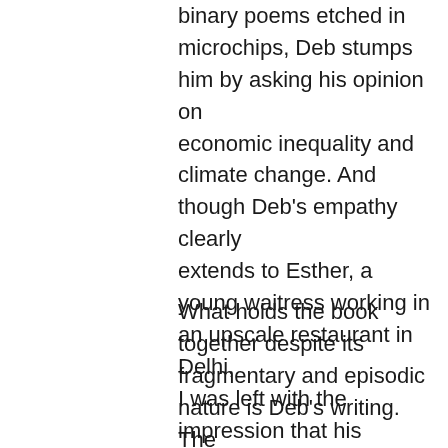binary poems etched in microchips, Deb stumps him by asking his opinion on economic inequality and climate change. And though Deb's empathy clearly extends to Esther, a young waitress working in an upscale restaurant in Delhi, I was left with the impression that his interest in her stemmed from her self-deception, from her initial assertion that she was living the life she wanted.
What holds the book together despite its fragmentary and episodic nature is Deb's writing. The prose effortlessly mixes facts and impressions and history and descriptions. Places and characters come alive as Deb wields a novelistic pen. And there is such a deep unquestionable humanity to Deb's investigation of those left